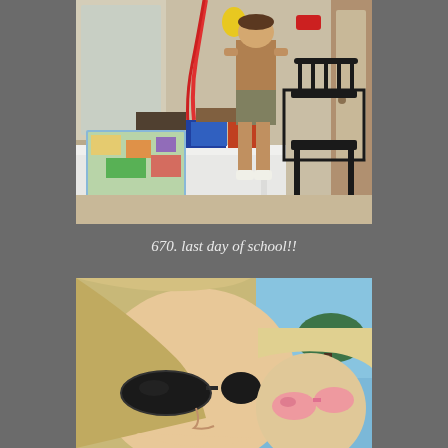[Figure (photo): Indoor photo of a child standing with their back to the camera near a white table. On the table are school supplies including notebooks, a colorful placemat with a map design, and other items. A black wooden rocking chair is visible in the background. Red ribbon/streamer hangs from above. Toys on the wall.]
670. last day of school!!
[Figure (photo): Outdoor selfie photo of two blonde females, one adult woman wearing dark sunglasses and one younger child wearing pink sunglasses, taken against a bright blue sky background with trees visible.]